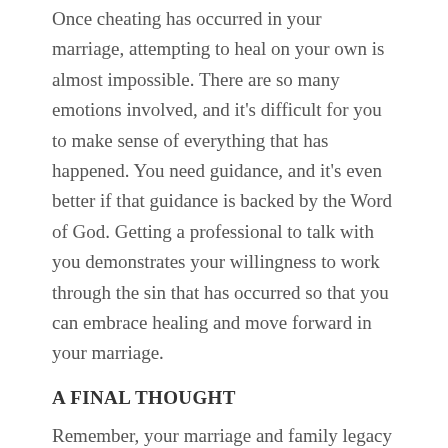Once cheating has occurred in your marriage, attempting to heal on your own is almost impossible. There are so many emotions involved, and it's difficult for you to make sense of everything that has happened. You need guidance, and it's even better if that guidance is backed by the Word of God. Getting a professional to talk with you demonstrates your willingness to work through the sin that has occurred so that you can embrace healing and move forward in your marriage.
A FINAL THOUGHT
Remember, your marriage and family legacy is your greatest asset. When you have been devastated by a cheating spouse in marriage the main thing that is on your mind is to get out of the pain. The pathway